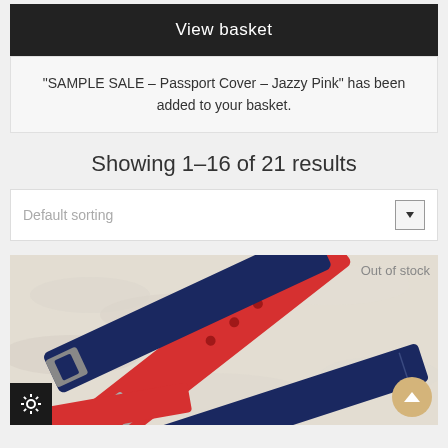View basket
"SAMPLE SALE – Passport Cover – Jazzy Pink" has been added to your basket.
Showing 1–16 of 21 results
Default sorting
[Figure (photo): Photo of red and navy leather watch straps on a white knitted background. Out of stock label shown top right.]